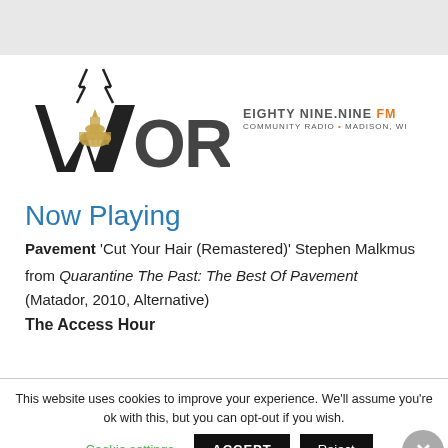[Figure (logo): WORT 89.9 FM Community Radio Madison WI logo with stylized capitol building and lightning bolt design]
Now Playing
Pavement 'Cut Your Hair (Remastered)' Stephen Malkmus
from Quarantine The Past: The Best Of Pavement (Matador, 2010, Alternative)
The Access Hour
This website uses cookies to improve your experience. We'll assume you're ok with this, but you can opt-out if you wish.
Cookie settings  ACCEPT  Reject